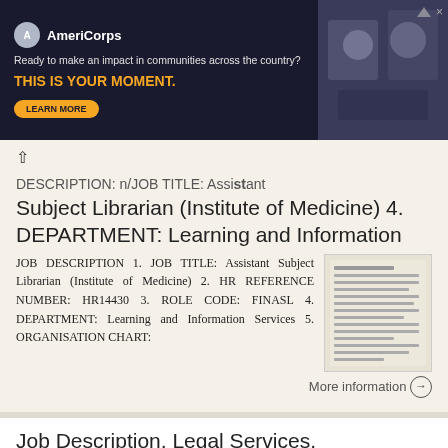[Figure (other): AmeriCorps advertisement banner with dark blue background. Logo, tagline 'Ready to make an impact in communities across the country?', slogan 'THIS IS YOUR MOMENT.', learn more button, and a photo of people.]
DESCRIPTION: n/JOB TITLE: Assistant Subject Librarian (Institute of Medicine) 4. DEPARTMENT: Learning and Information
JOB DESCRIPTION 1. JOB TITLE: Assistant Subject Librarian (Institute of Medicine) 2. HR REFERENCE NUMBER: HR14430 3. ROLE CODE: FINASL 4. DEPARTMENT: Learning and Information Services 5. ORGANISATION CHART:
More information →
Job Description. Legal Services. Organisation Advertising Description. Fixed term for 12 months. Grade Grade 8
Job Description Post Title and Post Number